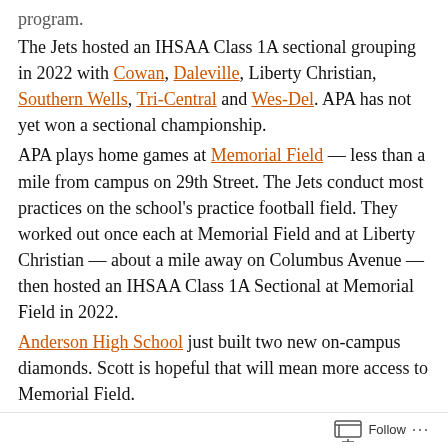program.
The Jets hosted an IHSAA Class 1A sectional grouping in 2022 with Cowan, Daleville, Liberty Christian, Southern Wells, Tri-Central and Wes-Del. APA has not yet won a sectional championship.
APA plays home games at Memorial Field — less than a mile from campus on 29th Street. The Jets conduct most practices on the school's practice football field. They worked out once each at Memorial Field and at Liberty Christian — about a mile away on Columbus Avenue — then hosted an IHSAA Class 1A Sectional at Memorial Field in 2022.
Anderson High School just built two new on-campus diamonds. Scott is hopeful that will mean more access to Memorial Field.
An IHSAA Limited Contact Period goes from Aug. 29-Oct. 15, but many players will be busy with soccer.
Scott says he hopes an assistant coach — as yet unconfirmed — can lead baseball players through workouts this winter while
Follow